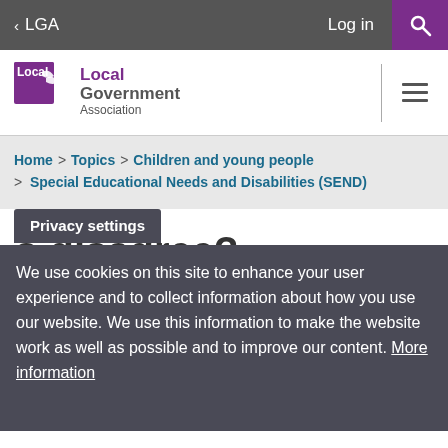< LGA   Log in  [search]
[Figure (logo): Local Government Association logo with purple shield icon]
Home > Topics > Children and young people > Special Educational Needs and Disabilities (SEND)
o disagree?
Privacy settings
We use cookies on this site to enhance your user experience and to collect information about how you use our website. We use this information to make the website work as well as possible and to improve our content. More information